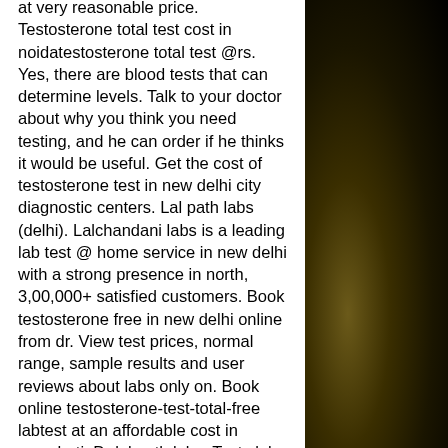at very reasonable price. Testosterone total test cost in noidatestosterone total test @rs. Yes, there are blood tests that can determine levels. Talk to your doctor about why you think you need testing, and he can order if he thinks it would be useful. Get the cost of testosterone test in new delhi city diagnostic centers. Lal path labs (delhi). Lalchandani labs is a leading lab test @ home service in new delhi with a strong presence in north, 3,00,000+ satisfied customers. Book testosterone free in new delhi online from dr. View test prices, normal range, sample results and user reviews about labs only on. Book online testosterone-test-total-free labtest at an affordable cost in guwahati. Dr lal path labs. Tests lab center visit. Lal path labs test cost in india – avail 3%. Lal path labs is one of the leading diagnostic chains in india. It has wide coverage. Onde comprar oxandrolona gc – comprar anadrol no brasil. 50 mg anavar ed (every day) week 4